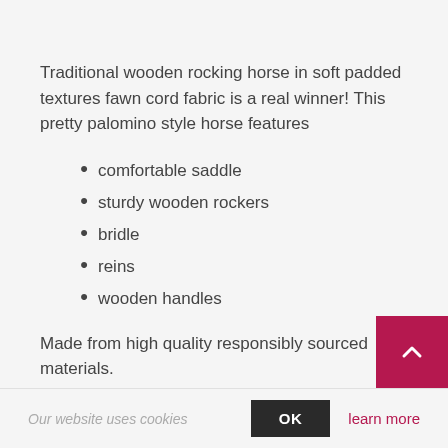Traditional wooden rocking horse in soft padded textures fawn cord fabric is a real winner! This pretty palomino style horse features
comfortable saddle
sturdy wooden rockers
bridle
reins
wooden handles
Made from high quality responsibly sourced materials.
Now you can have this item personalised w
Our website uses cookies
OK
learn more